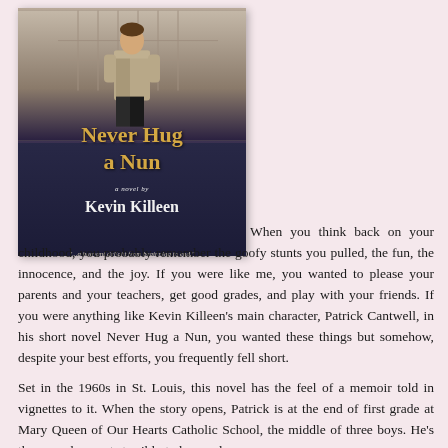[Figure (photo): Book cover of 'Never Hug a Nun, a novel by Kevin Killeen' with a figure of a boy on the cover and the tagline '...a buoyant delight from beginning to end.']
When you think back on your childhood, you probably remember the goofy stunts you pulled, the fun, the innocence, and the joy.  If you were like me, you wanted to please your parents and your teachers, get good grades, and play with your friends.  If you were anything like Kevin Killeen's main character, Patrick Cantwell, in his short novel Never Hug a Nun, you wanted these things but somehow, despite your best efforts, you frequently fell short.

Set in the 1960s in St. Louis, this novel has the feel of a memoir told in vignettes to it.  When the story opens, Patrick is at the end of first grade at Mary Queen of Our Hearts Catholic School, the middle of three boys.  He's the one who wants terribly to be good